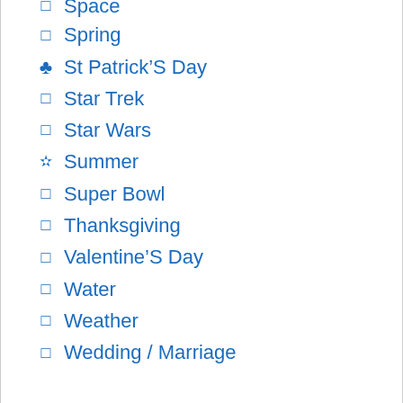Space
Spring
St Patrick'S Day
Star Trek
Star Wars
Summer
Super Bowl
Thanksgiving
Valentine'S Day
Water
Weather
Wedding / Marriage